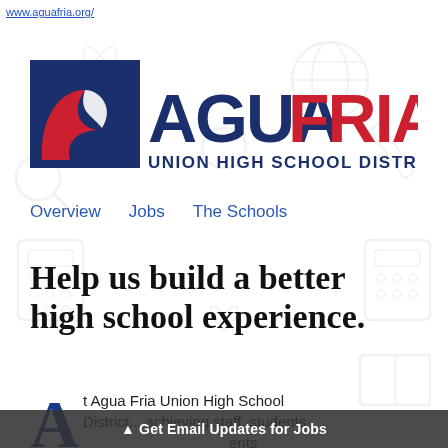www.aguafria.org/
[Figure (logo): Agua Fria Union High School District logo with navy blue background square containing a red and white wave shape, followed by bold text 'AGUA' in navy and 'FRIA' in red, with 'UNION HIGH SCHOOL DISTRICT' in navy below]
Overview   Jobs   The Schools
Help us build a better high school experience.
t Agua Fria Union High School District... achieving staff, students, ents
▲ Get Email Updates for Jobs